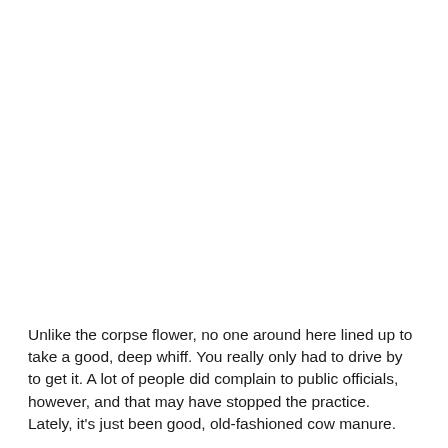Unlike the corpse flower, no one around here lined up to take a good, deep whiff. You really only had to drive by to get it. A lot of people did complain to public officials, however, and that may have stopped the practice. Lately, it's just been good, old-fashioned cow manure.
In Washington, though, Amorphophallus titanum was holding forth last week to no